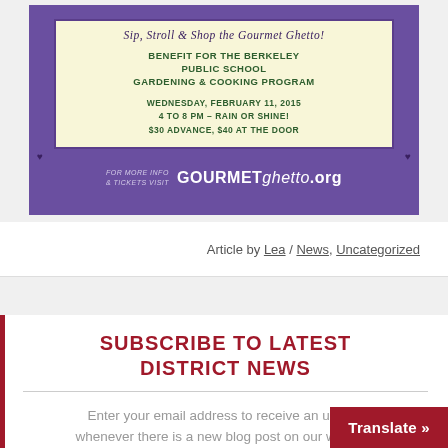[Figure (illustration): Event flyer for 'Sip, Stroll & Shop the Gourmet Ghetto!' - a benefit for the Berkeley Public School Gardening & Cooking Program on Wednesday, February 11, 2015, 4 to 8 PM, $30 advance, $40 at the door. Purple background with cream inner box. GOURMETghetto.org logo at bottom.]
Article by Lea / News, Uncategorized
SUBSCRIBE TO LATEST DISTRICT NEWS
Enter your email address to receive an update whenever there is a new blog post on our website.
Email Address
Translate »